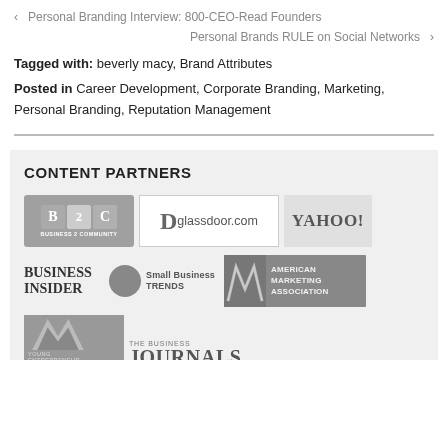‹  Personal Branding Interview: 800-CEO-Read Founders
Personal Brands RULE on Social Networks  ›
Tagged with: beverly macy, Brand Attributes
Posted in Career Development, Corporate Branding, Marketing, Personal Branding, Reputation Management
[Figure (logo): Content Partners section with logos: Business 2 Community (B2C), glassdoor.com, Yahoo!, Business Insider, Small Business Trends, American Marketing Association, Young Entrepreneur, The Business Journals]